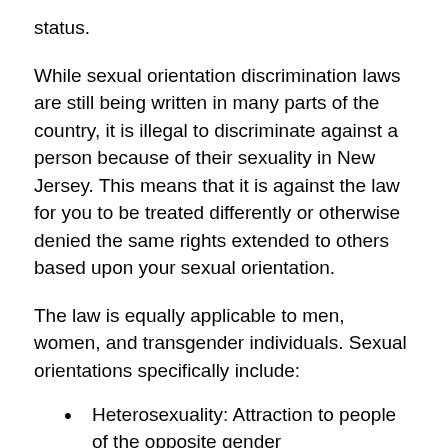status.
While sexual orientation discrimination laws are still being written in many parts of the country, it is illegal to discriminate against a person because of their sexuality in New Jersey. This means that it is against the law for you to be treated differently or otherwise denied the same rights extended to others based upon your sexual orientation.
The law is equally applicable to men, women, and transgender individuals. Sexual orientations specifically include:
Heterosexuality: Attraction to people of the opposite gender
Homosexuality: Attraction to people of the same gender